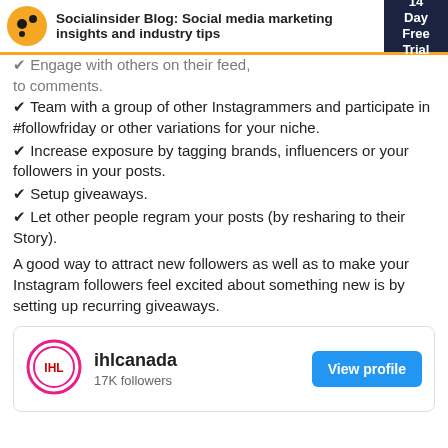Socialinsider Blog: Social media marketing insights and industry tips
✔ Engage with others on their feed, to comments.
✔ Team with a group of other Instagrammers and participate in #followfriday or other variations for your niche.
✔ Increase exposure by tagging brands, influencers or your followers in your posts.
✔ Setup giveaways.
✔ Let other people regram your posts (by resharing to their Story).
A good way to attract new followers as well as to make your Instagram followers feel excited about something new is by setting up recurring giveaways.
[Figure (screenshot): Instagram profile card for ihlcanada showing 17K followers and a View profile button]